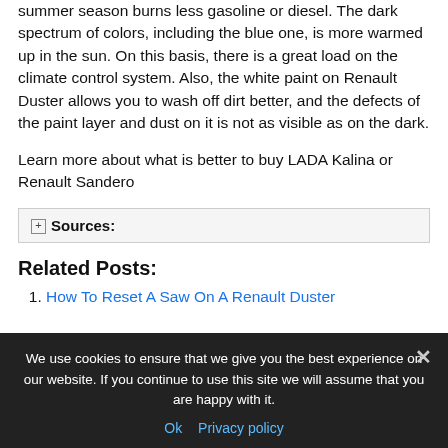summer season burns less gasoline or diesel. The dark spectrum of colors, including the blue one, is more warmed up in the sun. On this basis, there is a great load on the climate control system. Also, the white paint on Renault Duster allows you to wash off dirt better, and the defects of the paint layer and dust on it is not as visible as on the dark.
Learn more about what is better to buy LADA Kalina or Renault Sandero
⊞ Sources:
Related Posts:
How To Reset A Saw On A Renault Duster
We use cookies to ensure that we give you the best experience on our website. If you continue to use this site we will assume that you are happy with it.
Ok   Privacy policy